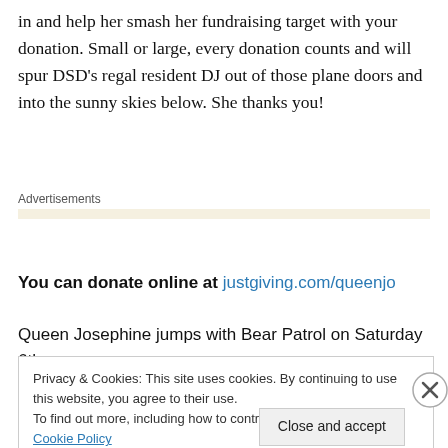in and help her smash her fundraising target with your donation. Small or large, every donation counts and will spur DSD's regal resident DJ out of those plane doors and into the sunny skies below. She thanks you!
Advertisements
You can donate online at justgiving.com/queenjo
Queen Josephine jumps with Bear Patrol on Saturday 6th
Privacy & Cookies: This site uses cookies. By continuing to use this website, you agree to their use.
To find out more, including how to control cookies, see here: Cookie Policy
Close and accept